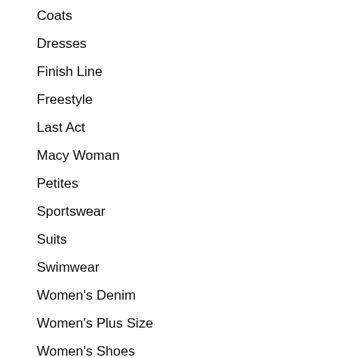Coats
Dresses
Finish Line
Freestyle
Last Act
Macy Woman
Petites
Sportswear
Suits
Swimwear
Women's Denim
Women's Plus Size
Women's Shoes